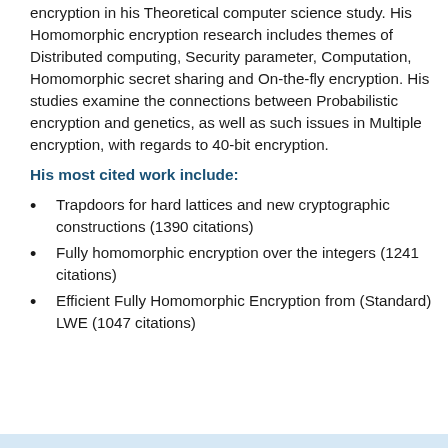encryption in his Theoretical computer science study. His Homomorphic encryption research includes themes of Distributed computing, Security parameter, Computation, Homomorphic secret sharing and On-the-fly encryption. His studies examine the connections between Probabilistic encryption and genetics, as well as such issues in Multiple encryption, with regards to 40-bit encryption.
His most cited work include:
Trapdoors for hard lattices and new cryptographic constructions (1390 citations)
Fully homomorphic encryption over the integers (1241 citations)
Efficient Fully Homomorphic Encryption from (Standard) LWE (1047 citations)